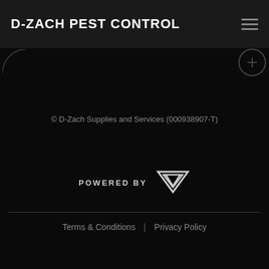D-ZACH PEST CONTROL
© D-Zach Supplies and Services (000938907-T)
[Figure (logo): POWERED BY with a triangular downward-pointing V logo (Vev/Velo)]
Terms & Conditions | Privacy Policy